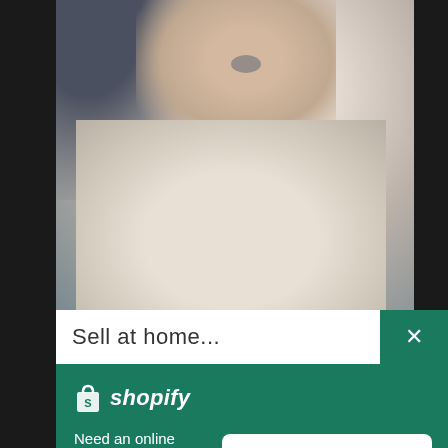[Figure (photo): Blurred photo of a person's hand holding a beige fabric bag, wearing a ring and dark jacket sleeves. Background is blurred in tones of cream, taupe, and dark grey.]
Sell at home...
[Figure (logo): Shopify logo: white shopping bag icon with letter S and italic white 'shopify' wordmark on green background]
Need an online store for your business?
Start free trial